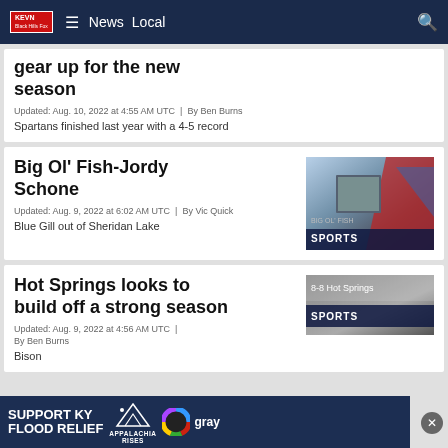KEVN | News | Local
gear up for the new season
Updated: Aug. 10, 2022 at 4:55 AM UTC  |  By Ben Burns
Spartans finished last year with a 4-5 record
Big Ol' Fish-Jordy Schone
Updated: Aug. 9, 2022 at 6:02 AM UTC  |  By Vic Quick
Blue Gill out of Sheridan Lake
[Figure (screenshot): SPORTS thumbnail image with blue and red graphic design]
Hot Springs looks to build off a strong season
Updated: Aug. 9, 2022 at 4:56 AM UTC  |
By Ben Burns
[Figure (screenshot): 8-8 Hot Springs SPORTS thumbnail image, dark background]
Bison
[Figure (infographic): SUPPORT KY FLOOD RELIEF banner ad with Appalachia Rises logo and Gray logo]